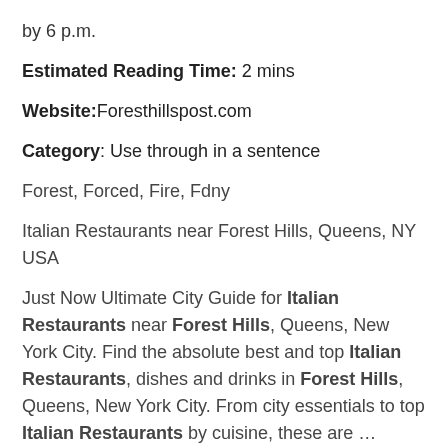by 6 p.m.
Estimated Reading Time: 2 mins
Website: Foresthillspost.com
Category: Use through in a sentence
Forest, Forced, Fire, Fdny
Italian Restaurants near Forest Hills, Queens, NY USA
Just Now Ultimate City Guide for Italian Restaurants near Forest Hills, Queens, New York City. Find the absolute best and top Italian Restaurants, dishes and drinks in Forest Hills, Queens, New York City. From city essentials to top Italian Restaurants by cuisine, these are …